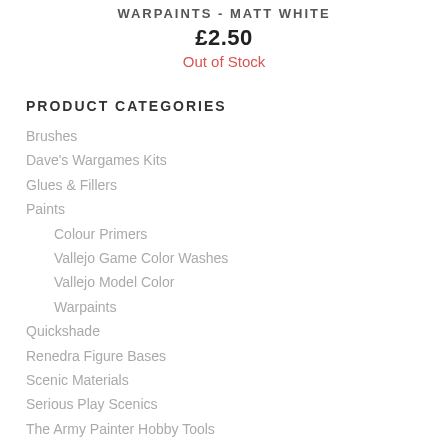WARPAINTS - MATT WHITE
£2.50
Out of Stock
PRODUCT CATEGORIES
Brushes
Dave's Wargames Kits
Glues & Fillers
Paints
Colour Primers
Vallejo Game Color Washes
Vallejo Model Color
Warpaints
Quickshade
Renedra Figure Bases
Scenic Materials
Serious Play Scenics
The Army Painter Hobby Tools